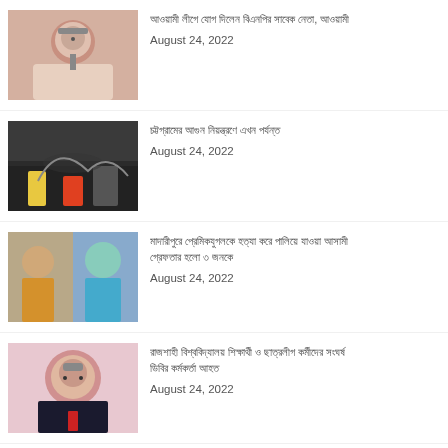[Figure (photo): Elderly man at microphone, wearing glasses]
[Bengali text headline] August 24, 2022
[Figure (photo): Dark scene with smoke and fire trucks]
[Bengali text headline] August 24, 2022
[Figure (photo): Young man and woman in hijab]
[Bengali text headline] August 24, 2022
[Figure (photo): Older man with glasses and red tie]
[Bengali text headline] August 24, 2022